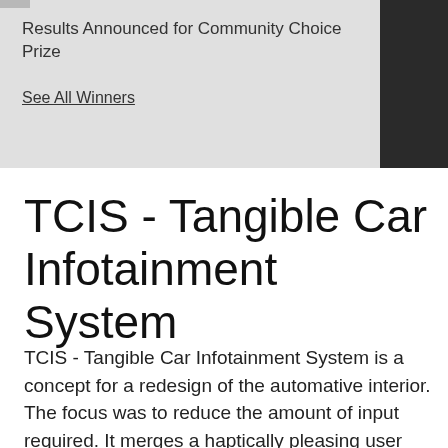Results Announced for Community Choice Prize
See All Winners
TCIS - Tangible Car Infotainment System
TCIS - Tangible Car Infotainment System is a concept for a redesign of the automative interior. The focus was to reduce the amount of input required. It merges a haptically pleasing user element with the advantage of a